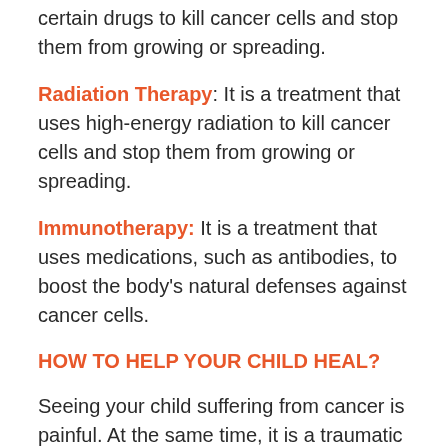certain drugs to kill cancer cells and stop them from growing or spreading.
Radiation Therapy: It is a treatment that uses high-energy radiation to kill cancer cells and stop them from growing or spreading.
Immunotherapy: It is a treatment that uses medications, such as antibodies, to boost the body's natural defenses against cancer cells.
HOW TO HELP YOUR CHILD HEAL?
Seeing your child suffering from cancer is painful. At the same time, it is a traumatic experience for the child. They do not understand the severity of cancer and managing it becomes more challenging. However, staying strong and focusing on timely treatment should be your goal.